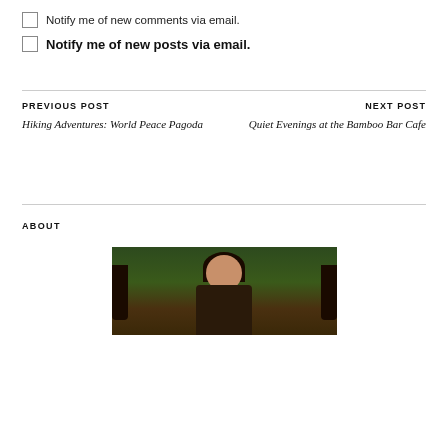Notify me of new comments via email.
Notify me of new posts via email.
PREVIOUS POST
Hiking Adventures: World Peace Pagoda
NEXT POST
Quiet Evenings at the Bamboo Bar Cafe
ABOUT
[Figure (photo): Portrait photo of a young woman with long dark hair, smiling, against a green leafy background]